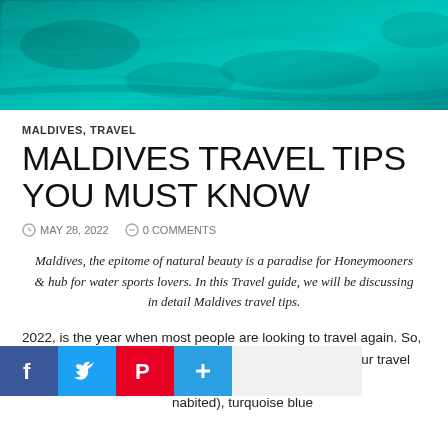[Figure (photo): Aerial view of turquoise blue ocean water, Maldives]
MALDIVES, TRAVEL
MALDIVES TRAVEL TIPS YOU MUST KNOW
MAY 28, 2022   0 COMMENTS
Maldives, the epitome of natural beauty is a paradise for Honeymooners & hub for water sports lovers. In this Travel guide, we will be discussing in detail Maldives travel tips.
2022, is the year when most people are looking to travel again. So, how about Maldives this year. Has that name aroused your travel lust? Surely, it has. The Maldives is 99% water and 1% ... (inhabited), turquoise blue ...